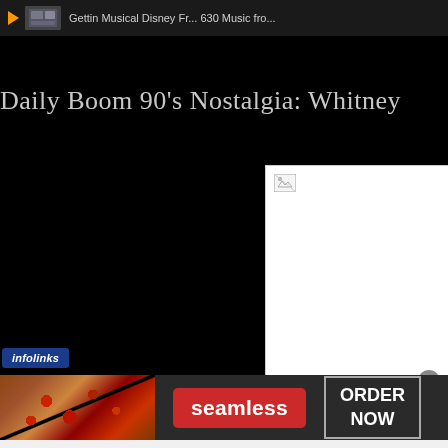Gettin Musical Disney Fr... 630 Music fro...
Daily Boom 90's Nostalgia: Whitney
[Figure (screenshot): White content box with broken image icon in top-left corner]
infolinks
[Figure (screenshot): Seamless food delivery advertisement banner with pizza image on left, red Seamless logo button in center, and ORDER NOW button on right with a close X button]